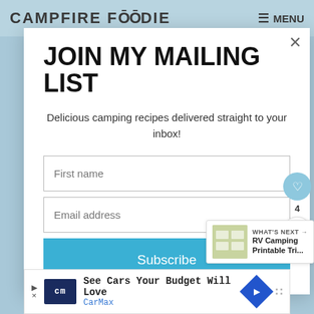CAMPFIRE FOODIE   MENU
JOIN MY MAILING LIST
Delicious camping recipes delivered straight to your inbox!
First name
Email address
Subscribe
WHAT'S NEXT → RV Camping Printable Tri...
See Cars Your Budget Will Love CarMax